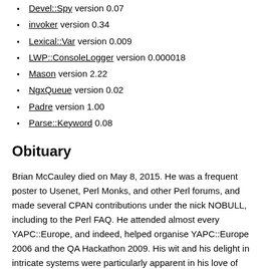Devel::Spy version 0.07
invoker version 0.34
Lexical::Var version 0.009
LWP::ConsoleLogger version 0.000018
Mason version 2.22
NgxQueue version 0.02
Padre version 1.00
Parse::Keyword 0.08
Obituary
Brian McCauley died on May 8, 2015. He was a frequent poster to Usenet, Perl Monks, and other Perl forums, and made several CPAN contributions under the nick NOBULL, including to the Perl FAQ. He attended almost every YAPC::Europe, and indeed, helped organise YAPC::Europe 2006 and the QA Hackathon 2009. His wit and his delight in intricate systems were particularly apparent in his love of board games; many Perl mongers will have fond memories of playing Fluxx and other games with Brian. He will be